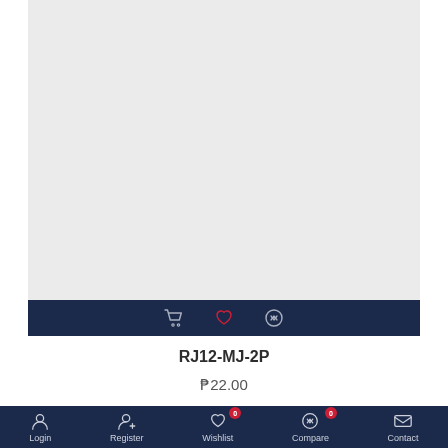[Figure (photo): Product image placeholder — light gray background rectangle]
RJ12-MJ-2P
₱22.00
Login  Register  Wishlist 0  Compare 0  Contact